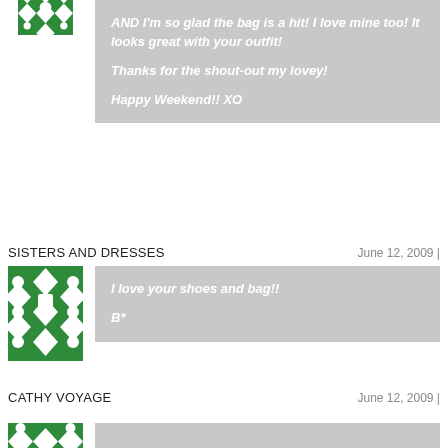[Figure (illustration): Green geometric/floral pattern avatar icon, partially visible at top]
AND I'm so glad the bag is a hit! I love mine too! It looks great with your outfit!

Thanks for the shout-out my lovey!

Happy Weekend!! XO
SISTERS AND DRESSES
June 12, 2009 |
[Figure (illustration): Green geometric/floral pattern avatar icon]
I love your shoes and bag!!

B*
CATHY VOYAGE
June 12, 2009 |
[Figure (illustration): Green geometric/floral pattern avatar icon, partially visible at bottom]